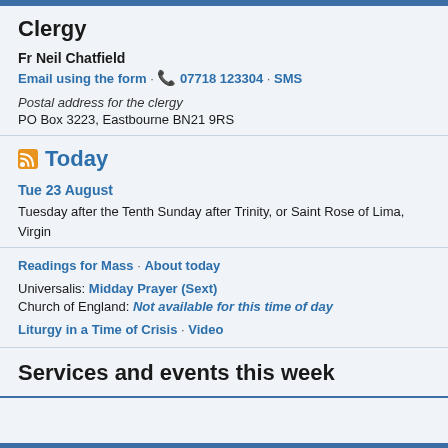Clergy
Fr Neil Chatfield
Email using the form · 📞 07718 123304 · SMS
Postal address for the clergy
PO Box 3223, Eastbourne BN21 9RS
Today
Tue 23 August
Tuesday after the Tenth Sunday after Trinity, or Saint Rose of Lima, Virgin
Readings for Mass · About today
Universalis: Midday Prayer (Sext)
Church of England: Not available for this time of day
Liturgy in a Time of Crisis · Video
Services and events this week